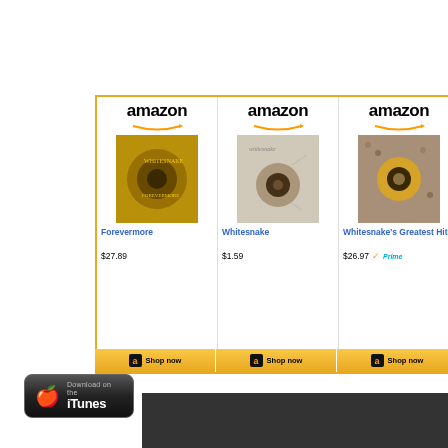[Figure (screenshot): Amazon product widget showing three Whitesnake albums: Forevermore ($27.89), Whitesnake ($1.59), Whitesnake's Greatest Hits ($26.97 with Prime), each with Shop now buttons]
[Figure (screenshot): Download on iTunes button (black rounded rectangle with Apple logo and iTunes text)]
Whitesnake
[Figure (screenshot): Dark gray/black bar at the bottom of the page]